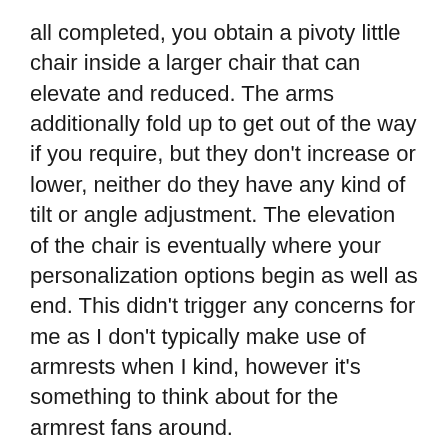all completed, you obtain a pivoty little chair inside a larger chair that can elevate and reduced. The arms additionally fold up to get out of the way if you require, but they don't increase or lower, neither do they have any kind of tilt or angle adjustment. The elevation of the chair is eventually where your personalization options begin as well as end. This didn't trigger any concerns for me as I don't typically make use of armrests when I kind, however it's something to think about for the armrest fans around.
The construct quality likewise leaves me wanting daily– I've used chairs less than half the cost of the BackStrong C1 with nicer construct high quality. The chair rocks back and forth (in such a way that it should not)